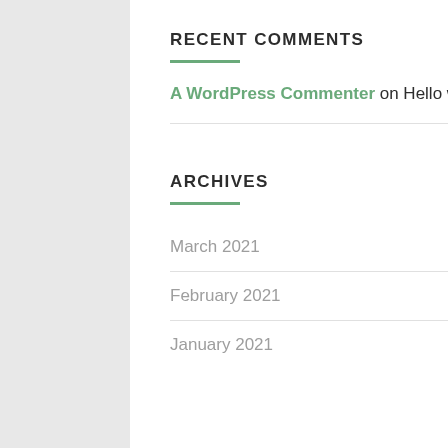RECENT COMMENTS
A WordPress Commenter on Hello world!
ARCHIVES
March 2021
February 2021
January 2021